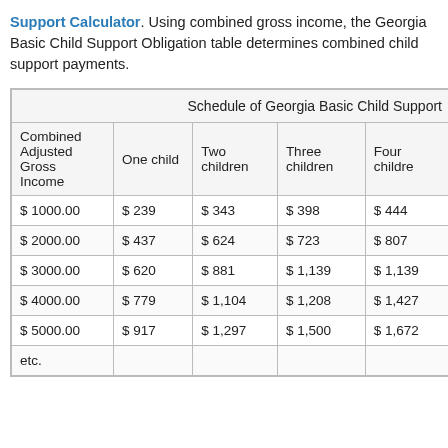Support Calculator. Using combined gross income, the Georgia Basic Child Support Obligation table determines combined child support payments.
| Combined Adjusted Gross Income | One child | Two children | Three children | Four children |
| --- | --- | --- | --- | --- |
| $ 1000.00 | $ 239 | $ 343 | $ 398 | $ 444 |
| $ 2000.00 | $ 437 | $ 624 | $ 723 | $ 807 |
| $ 3000.00 | $ 620 | $ 881 | $ 1,139 | $ 1,139 |
| $ 4000.00 | $ 779 | $ 1,104 | $ 1,208 | $ 1,427 |
| $ 5000.00 | $ 917 | $ 1,297 | $ 1,500 | $ 1,672 |
| etc. |  |  |  |  |